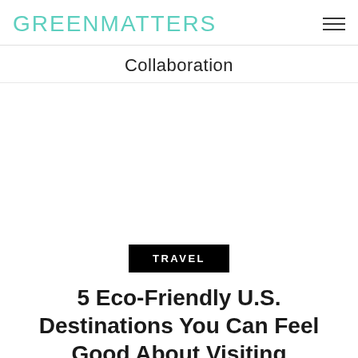GREENMATTERS
Collaboration
[Figure (other): Large white/blank image area placeholder]
TRAVEL
5 Eco-Friendly U.S. Destinations You Can Feel Good About Visiting